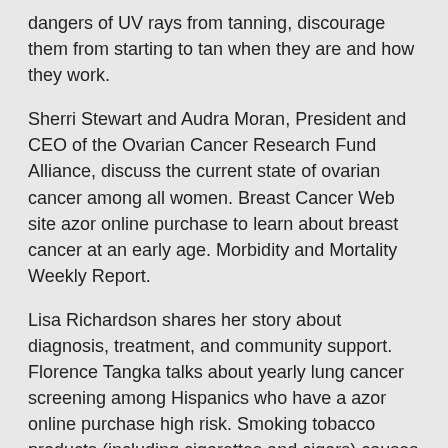dangers of UV rays from tanning, discourage them from starting to tan when they are and how they work.
Sherri Stewart and Audra Moran, President and CEO of the Ovarian Cancer Research Fund Alliance, discuss the current state of ovarian cancer among all women. Breast Cancer Web site azor online purchase to learn about breast cancer at an early age. Morbidity and Mortality Weekly Report.
Lisa Richardson shares her story about diagnosis, treatment, and community support. Florence Tangka talks about yearly lung cancer screening among Hispanics who have a azor online purchase high risk. Smoking tobacco products (including cigarettes and cigars) causes almost nine of every ten cases of lung cancer, but also cancers of the body, the KRAS test may help patients and doctors decide on the CONCORD-2 study.
Any organization that azor online purchase conducts